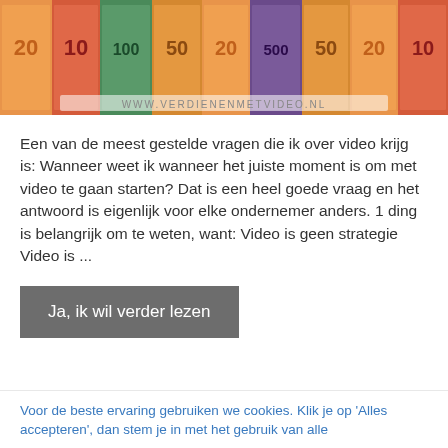[Figure (photo): Row of Euro banknotes (20, 10, 100, 50, 20, 50, 500, 20, 50, 50, 20, 10) fanned out with watermark text 'www.verdienenmetvideo.nl']
Een van de meest gestelde vragen die ik over video krijg is: Wanneer weet ik wanneer het juiste moment is om met video te gaan starten? Dat is een heel goede vraag en het antwoord is eigenlijk voor elke ondernemer anders. 1 ding is belangrijk om te weten, want: Video is geen strategie Video is ...
Ja, ik wil verder lezen
Voor de beste ervaring gebruiken we cookies. Klik je op 'Alles accepteren', dan stem je in met het gebruik van alle